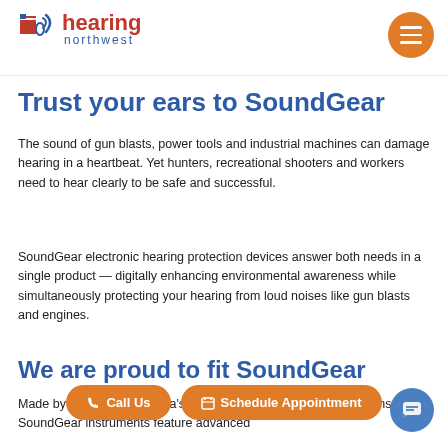[Figure (logo): Hearing Northwest logo with American flag icon and ear/sound wave graphic, red and blue text]
Trust your ears to SoundGear
The sound of gun blasts, power tools and industrial machines can damage hearing in a heartbeat. Yet hunters, recreational shooters and workers need to hear clearly to be safe and successful.
SoundGear electronic hearing protection devices answer both needs in a single product — digitally enhancing environmental awareness while simultaneously protecting your hearing from loud noises like gun blasts and engines.
We are proud to fit SoundGear
Made by Starkey — America's premier provider of hearing solutions — SoundGear instruments feature advanced